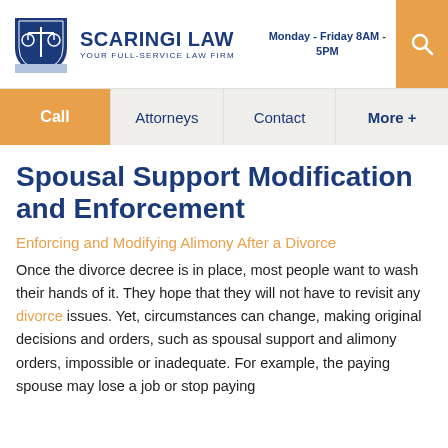[Figure (logo): Scaringi Law logo with blue shield and scales of justice icon]
Monday - Friday 8AM - 5PM
Call  Attorneys  Contact  More +
Spousal Support Modification and Enforcement
Enforcing and Modifying Alimony After a Divorce
Once the divorce decree is in place, most people want to wash their hands of it. They hope that they will not have to revisit any divorce issues. Yet, circumstances can change, making original decisions and orders, such as spousal support and alimony orders, impossible or inadequate. For example, the paying spouse may lose a job or stop paying